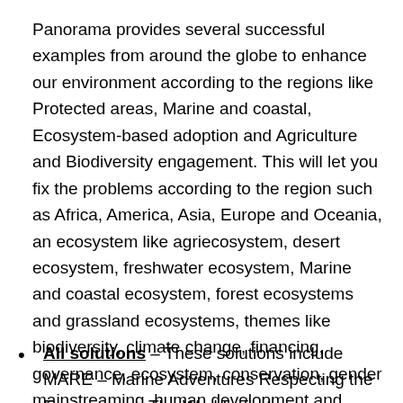Panorama provides several successful examples from around the globe to enhance our environment according to the regions like Protected areas, Marine and coastal, Ecosystem-based adoption and Agriculture and Biodiversity engagement. This will let you fix the problems according to the region such as Africa, America, Asia, Europe and Oceania, an ecosystem like agriecosystem, desert ecosystem, freshwater ecosystem, Marine and coastal ecosystem, forest ecosystems and grassland ecosystems, themes like biodiversity, climate change, financing, governance, ecosystem, conservation, gender mainstreaming, human development and infrastructure and also challenges which include climate challenges, ecological challenges, social challenges, and economic challenges. The services look like –
All solutions – These solutions include MARE – Marine Adventures Respecting the Environment, The World's first